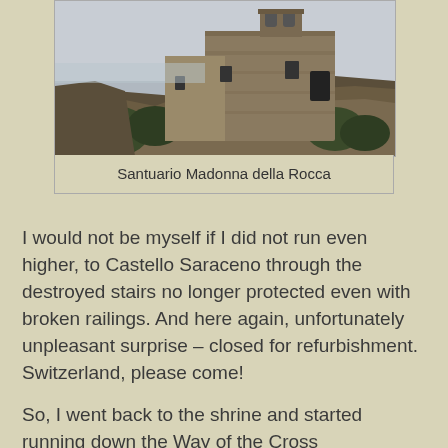[Figure (photo): A stone sanctuary building perched on rocky cliffs with vegetation, featuring a bell tower at the top. Sky visible in background.]
Santuario Madonna della Rocca
I would not be myself if I did not run even higher, to Castello Saraceno through the destroyed stairs no longer protected even with broken railings. And here again, unfortunately unpleasant surprise – closed for refurbishment. Switzerland, please come!
So, I went back to the shrine and started running down the Way of the Cross